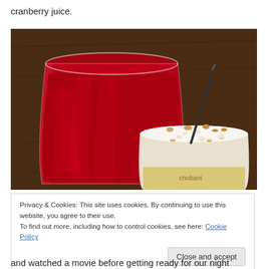cranberry juice.
[Figure (photo): A glass of red cranberry juice and a container of yogurt with granola and a spoon, on a wooden surface.]
Privacy & Cookies: This site uses cookies. By continuing to use this website, you agree to their use.
To find out more, including how to control cookies, see here: Cookie Policy

Close and accept
and watched a movie before getting ready for our night